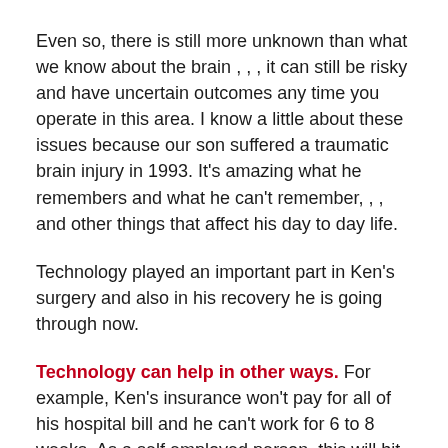Even so, there is still more unknown than what we know about the brain , , , it can still be risky and have uncertain outcomes any time you operate in this area. I know a little about these issues because our son suffered a traumatic brain injury in 1993. It's amazing what he remembers and what he can't remember, , , and other things that affect his day to day life.
Technology played an important part in Ken's surgery and also in his recovery he is going through now.
Technology can help in other ways. For example, Ken's insurance won't pay for all of his hospital bill and he can't work for 6 to 8 weeks. As a self employed person, this will hit him pretty hard, , , so two of us decided to try to do something. Technology is helping us in this effort.